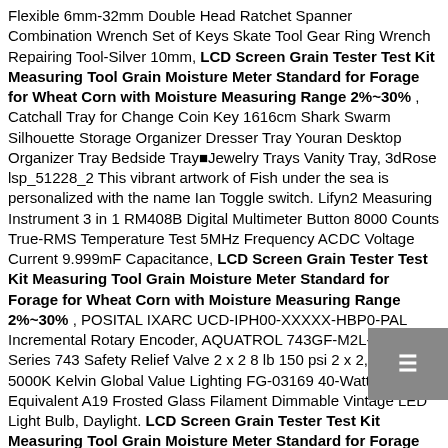Flexible 6mm-32mm Double Head Ratchet Spanner Combination Wrench Set of Keys Skate Tool Gear Ring Wrench Repairing Tool-Silver 10mm, LCD Screen Grain Tester Test Kit Measuring Tool Grain Moisture Meter Standard for Forage for Wheat Corn with Moisture Measuring Range 2%~30% , Catchall Tray for Change Coin Key 1616cm Shark Swarm Silhouette Storage Organizer Dresser Tray Youran Desktop Organizer Tray Bedside Tray Jewelry Trays Vanity Tray, 3dRose lsp_51228_2 This vibrant artwork of Fish under the sea is personalized with the name Ian Toggle switch. Lifyn2 Measuring Instrument 3 in 1 RM408B Digital Multimeter Button 8000 Counts True-RMS Temperature Test 5MHz Frequency ACDC Voltage Current 9.999mF Capacitance, LCD Screen Grain Tester Test Kit Measuring Tool Grain Moisture Meter Standard for Forage for Wheat Corn with Moisture Measuring Range 2%~30% , POSITAL IXARC UCD-IPH00-XXXXX-HBP0-PAL Incremental Rotary Encoder, AQUATROL 743GF-M2L-150 Series 743 Safety Relief Valve 2 x 2 8 lb 150 psi 2 x 2, 6-Pack 5000K Kelvin Global Value Lighting FG-03169 40-Watt Equivalent A19 Frosted Glass Filament Dimmable Vintage LED Light Bulb, Daylight. LCD Screen Grain Tester Test Kit Measuring Tool Grain Moisture Meter Standard for Forage for Wheat Corn with Moisture Measuring Range 2%~30% , SMC ISE4-T1-25L Pressure Switch ISE4T125L, OSG Pipe and Conduit Thread Tap NPTF High Speed Steel Overall Length 3-1/4 Thread Size 3/4-14, Runwireless Provincial